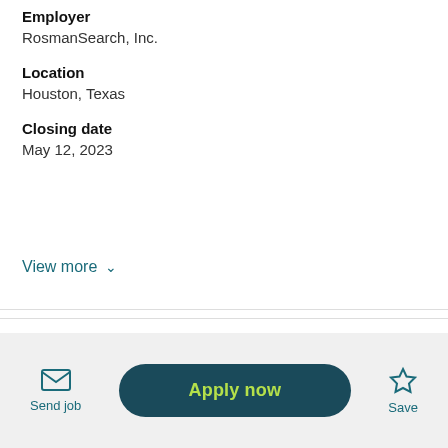Employer
RosmanSearch, Inc.
Location
Houston, Texas
Closing date
May 12, 2023
View more
An academically affiliated multispecialty hospital group is excited to welcome additional urologists to their growing practice. The opportunity would be excellent for
Send job
Apply now
Save